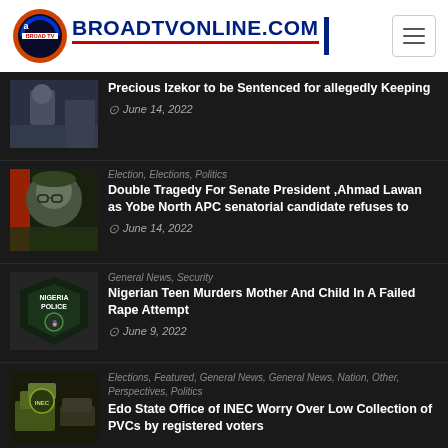BROADTVONLINE.COM
[Figure (photo): Person near a car]
Precious Izekor to be Sentenced for allegedly Keeping
June 14, 2022
[Figure (photo): Man in traditional hat and glasses smiling]
Election, Elections, Politics
Double Tragedy For Senate President ,Ahmad Lawan as Yobe North APC senatorial candidate refuses to
June 14, 2022
[Figure (photo): Nigeria Police logo/shield]
General News, Security
Nigerian Teen Murders Mother And Child In A Failed Rape Attempt
June 9, 2022
[Figure (photo): INEC materials/PVCs stacked]
Elections, Featured, General News, General News, Nation, Other, Perspectives, Politics
Edo State Office of INEC Worry Over Low Collection of PVCs by registered voters